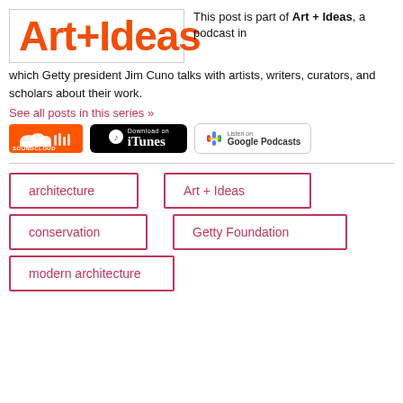[Figure (logo): Art+Ideas logo in orange bold text inside a bordered box]
This post is part of Art + Ideas, a podcast in which Getty president Jim Cuno talks with artists, writers, curators, and scholars about their work.
See all posts in this series »
[Figure (other): Three podcast/listening badges: SoundCloud (orange), Download on iTunes (black), Listen on Google Podcasts (white with border)]
architecture
Art + Ideas
conservation
Getty Foundation
modern architecture